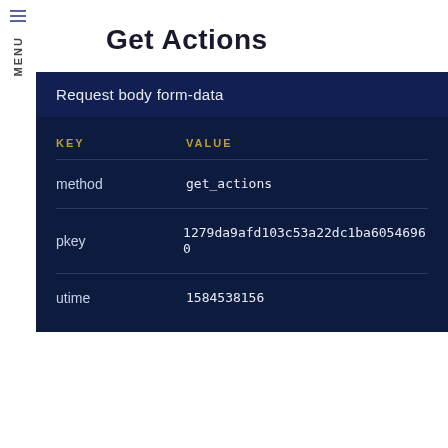MENU
Get Actions
Request body form-data
| KEY | VALUE |
| --- | --- |
| method | get_actions |
| pkey | 1279da9afd103c53a22dc1ba60546960 |
| utime | 1584538156 |